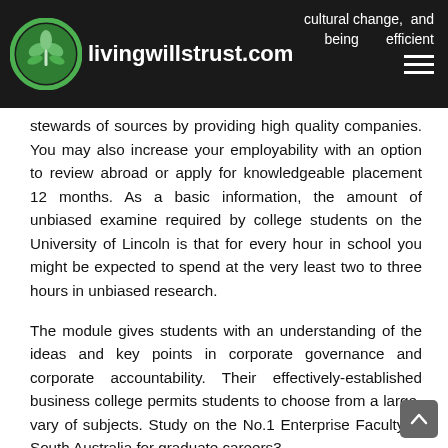livingwillstrust.com | cultural change, and being efficient
stewards of sources by providing high quality companies. You may also increase your employability with an option to review abroad or apply for knowledgeable placement 12 months. As a basic information, the amount of unbiased examine required by college students on the University of Lincoln is that for every hour in school you might be expected to spend at the very least two to three hours in unbiased research.
The module gives students with an understanding of the ideas and key points in corporate governance and corporate accountability. Their effectively-established business college permits students to choose from a large-vary of subjects. Study on the No.1 Enterprise Faculty in South Australia for graduate careers3.
12 months 1 gives you a agency grounding in key areas of international enterprise and finance via compulsory modules.